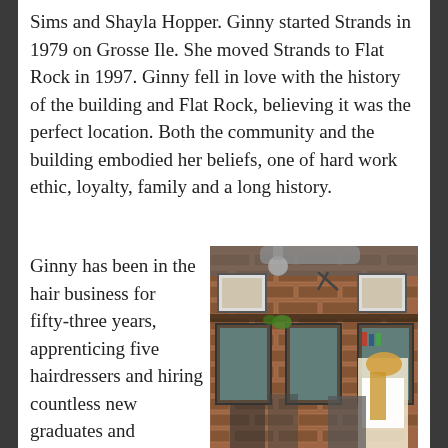Sims and Shayla Hopper. Ginny started Strands in 1979 on Grosse Ile. She moved Strands to Flat Rock in 1997. Ginny fell in love with the history of the building and Flat Rock, believing it was the perfect location. Both the community and the building embodied her beliefs, one of hard work ethic, loyalty, family and a long history.
Ginny has been in the hair business for fifty-three years, apprenticing five hairdressers and hiring countless new graduates and
[Figure (photo): Interior of a hair salon with exposed brick walls, mirrors, styling stations, framed art on the walls, industrial pendant lighting, and a stylist with long blonde hair working with a client.]